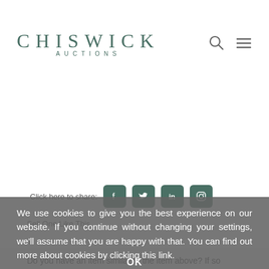CHISWICK AUCTIONS
U9UCEB7X
Sold for £4,500
Includes Buyer's Premium (i)
Click here to share:
Sell One Like This
We use cookies to give you the best experience on our website. If you continue without changing your settings, we'll assume that you are happy with that. You can find out more about cookies by clicking this link.
Do you have an item similar to the item above? If so please click the link below to submit a free online valuation request through our website.
OK